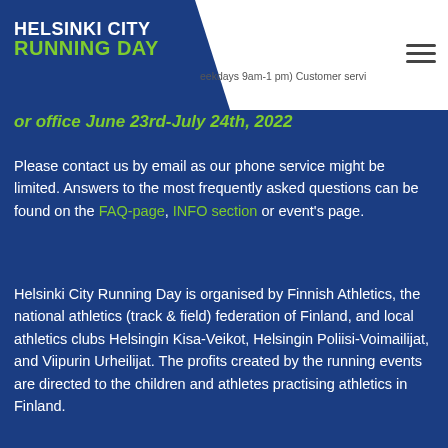In English | Suomeksi
HELSINKI CITY RUNNING DAY
or office June 23rd-July 24th, 2022
Please contact us by email as our phone service might be limited. Answers to the most frequently asked questions can be found on the FAQ-page, INFO section or event's page.
Helsinki City Running Day is organised by Finnish Athletics, the national athletics (track & field) federation of Finland, and local athletics clubs Helsingin Kisa-Veikot, Helsingin Poliisi-Voimailijat, and Viipurin Urheilijat. The profits created by the running events are directed to the children and athletes practising athletics in Finland.